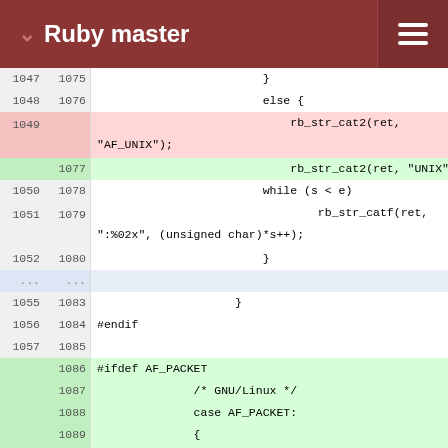Ruby master
[Figure (screenshot): Code diff view showing Ruby C source file with line numbers, deleted lines highlighted in red and added lines highlighted in green. Shows code around rb_str_cat2, AF_UNIX, AF_PACKET socket address handling.]